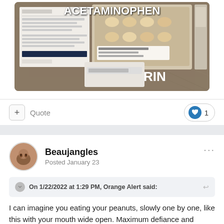[Figure (photo): Photo of medication packages on a burlap surface. Labels 'ACETAMINOPHEN' and 'ASPIRIN' are overlaid in white text on the image.]
+ Quote  ❤ 1
Beaujangles
Posted January 23
On 1/22/2022 at 1:29 PM, Orange Alert said:
I can imagine you eating your peanuts, slowly one by one, like this with your mouth wide open. Maximum defiance and disrespect of the mask BS. 😄